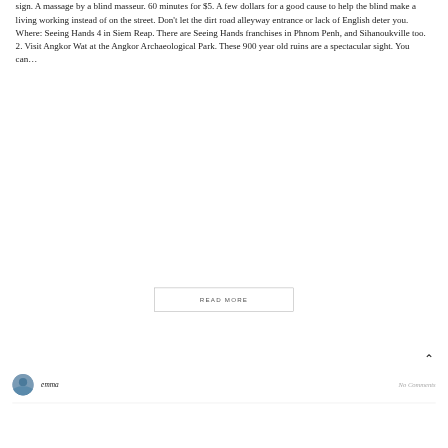sign. A massage by a blind masseur. 60 minutes for $5. A few dollars for a good cause to help the blind make a living working instead of on the street. Don't let the dirt road alleyway entrance or lack of English deter you. Where: Seeing Hands 4 in Siem Reap. There are Seeing Hands franchises in Phnom Penh, and Sihanoukville too. 2. Visit Angkor Wat at the Angkor Archaeological Park. These 900 year old ruins are a spectacular sight. You can...
READ MORE
emma
No Comments